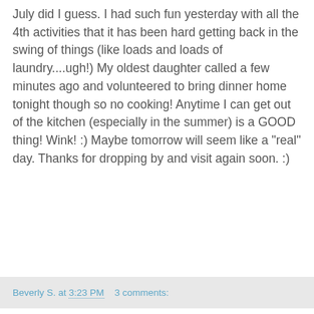July did I guess. I had such fun yesterday with all the 4th activities that it has been hard getting back in the swing of things (like loads and loads of laundry....ugh!) My oldest daughter called a few minutes ago and volunteered to bring dinner home tonight though so no cooking! Anytime I can get out of the kitchen (especially in the summer) is a GOOD thing! Wink! :) Maybe tomorrow will seem like a "real" day. Thanks for dropping by and visit again soon. :)
Beverly S. at 3:23 PM    3 comments:
Monday, July 4, 2011
Cowboy "Moments" Card
[Figure (photo): A handmade card with a kraft cardstock background, a blue fleur-de-lis embellishment on the left, a red rectangular frame containing a black and white photo in the lower right area.]